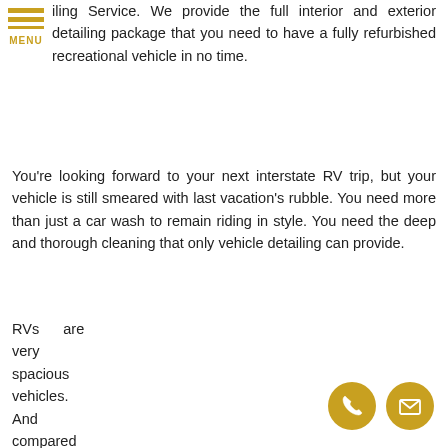[Figure (logo): Golden hamburger menu icon with three horizontal bars and MENU label in gold]
iling Service. We provide the full interior and exterior detailing package that you need to have a fully refurbished recreational vehicle in no time.
You're looking forward to your next interstate RV trip, but your vehicle is still smeared with last vacation's rubble. You need more than just a car wash to remain riding in style. You need the deep and thorough cleaning that only vehicle detailing can provide.
RVs      are
very
spacious
vehicles.
And
compared
to     regular
[Figure (illustration): Two golden circle contact icons at bottom right: phone handset icon and envelope/mail icon]